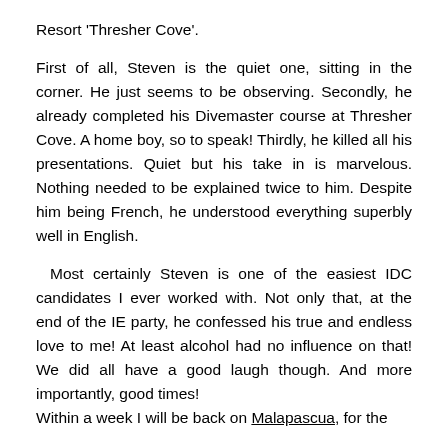Resort 'Thresher Cove'.
First of all, Steven is the quiet one, sitting in the corner. He just seems to be observing. Secondly, he already completed his Divemaster course at Thresher Cove. A home boy, so to speak! Thirdly, he killed all his presentations. Quiet but his take in is marvelous. Nothing needed to be explained twice to him. Despite him being French, he understood everything superbly well in English.
Most certainly Steven is one of the easiest IDC candidates I ever worked with. Not only that, at the end of the IE party, he confessed his true and endless love to me! At least alcohol had no influence on that! We did all have a good laugh though. And more importantly, good times!
Within a week I will be back on Malapascua, for the